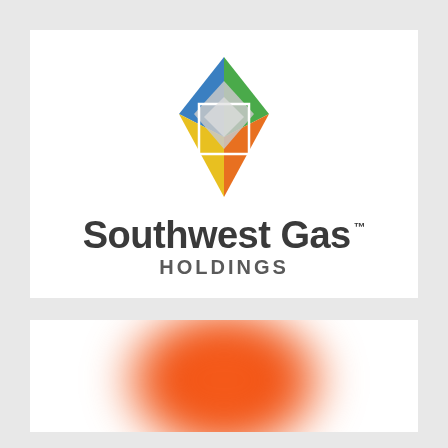[Figure (logo): Southwest Gas Holdings logo — a faceted diamond gem shape with blue, green, yellow, orange, and silver/white panels, above the text 'Southwest Gas' in bold dark sans-serif with a TM mark, and 'HOLDINGS' in spaced uppercase below]
[Figure (logo): Partial view of another logo — an orange circular shape, blurred, visible only from the top half, cropped at the bottom of the page]